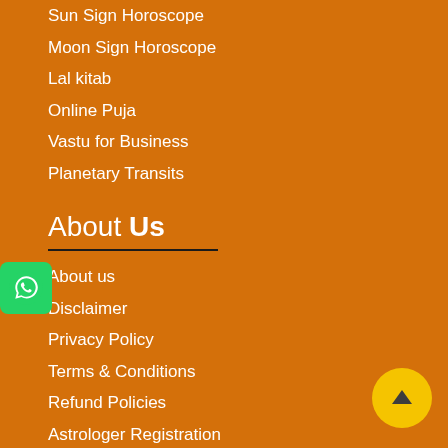Sun Sign Horoscope
Moon Sign Horoscope
Lal kitab
Online Puja
Vastu for Business
Planetary Transits
About Us
About us
Disclaimer
Privacy Policy
Terms & Conditions
Refund Policies
Astrologer Registration
Contact-us
Our Reports
Kundali Reports